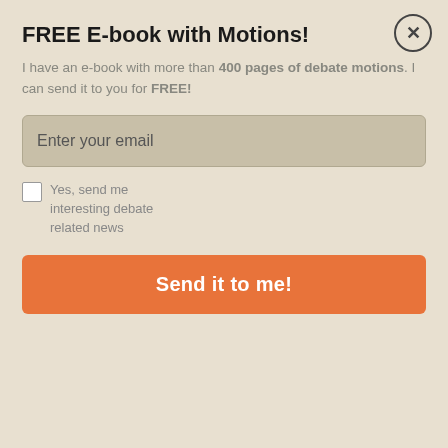FREE E-book with Motions!
I have an e-book with more than 400 pages of debate motions. I can send it to you for FREE!
Enter your email
Yes, send me interesting debate related news
Send it to me!
Other tournament motions
WSDC motions for high school
UADC motions
Australs motions
Debatte themen